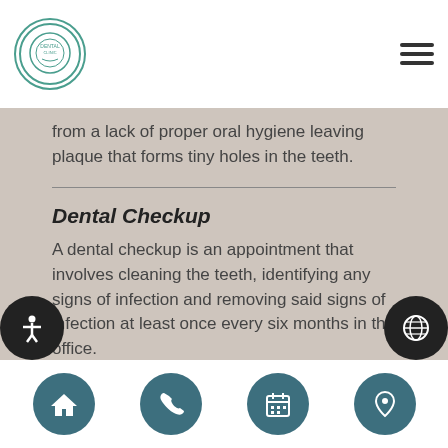[Figure (logo): Circular dental clinic logo with teal border]
from a lack of proper oral hygiene leaving plaque that forms tiny holes in the teeth.
Dental Checkup
A dental checkup is an appointment that involves cleaning the teeth, identifying any signs of infection and removing said signs of infection at least once every six months in the office.
Dental Filling
A dental filling involves restoring the structure of the tooth by using metal, alloy, porcelain or plastic to fill